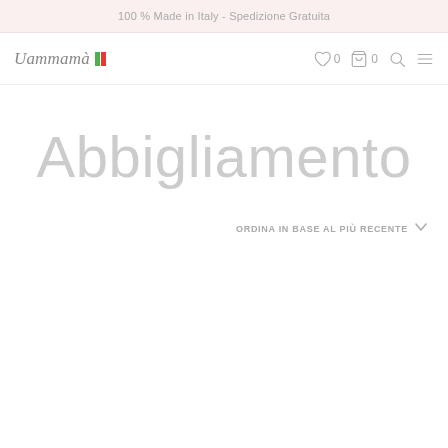100 % Made in Italy - Spedizione Gratuita
[Figure (logo): Uammamà logo with Italian flag icon and navigation icons (heart 0, cart 0, search, menu)]
Abbigliamento
ORDINA IN BASE AL PIÙ RECENTE